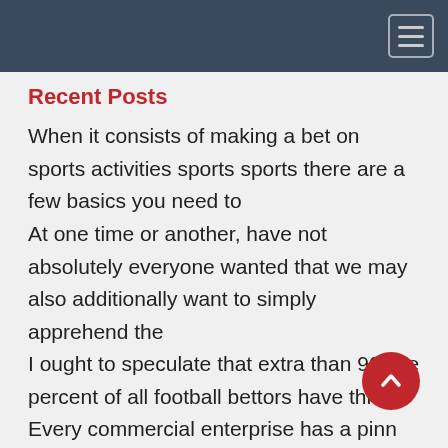Recent Posts
When it consists of making a bet on sports activities sports sports there are a few basics you need to
At one time or another, have not absolutely everyone wanted that we may also additionally want to simply apprehend the
I ought to speculate that extra than 90 five percent of all football bettors have thr
Every commercial enterprise has a pinn season, even companies that the average